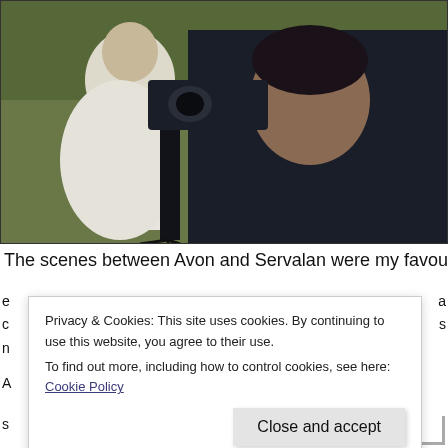[Figure (photo): A woman in a white dress and a man in dark clothing operating a camera on a tripod in a grassy outdoor setting. The man looks intensely at the camera. This appears to be a still from a TV show featuring characters Avon and Servalan.]
The scenes between Avon and Servalan were my favourites in the
e ... a
c ... s
n ...
Privacy & Cookies: This site uses cookies. By continuing to use this website, you agree to their use.
To find out more, including how to control cookies, see here: Cookie Policy
Close and accept
A
s